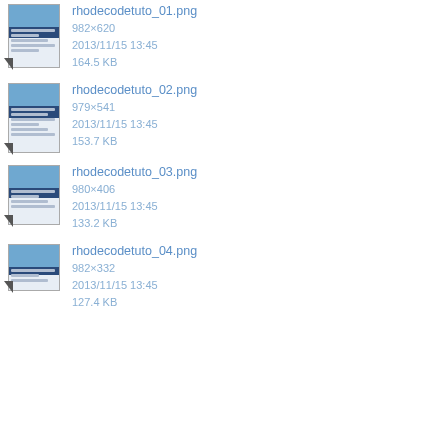[Figure (screenshot): Thumbnail screenshot of rhodecodetuto_01.png showing a web interface]
rhodecodetuto_01.png
982×620
2013/11/15 13:45
164.5 KB
[Figure (screenshot): Thumbnail screenshot of rhodecodetuto_02.png showing a web interface]
rhodecodetuto_02.png
979×541
2013/11/15 13:45
153.7 KB
[Figure (screenshot): Thumbnail screenshot of rhodecodetuto_03.png showing a web interface]
rhodecodetuto_03.png
980×406
2013/11/15 13:45
133.2 KB
[Figure (screenshot): Thumbnail screenshot of rhodecodetuto_04.png showing a web interface]
rhodecodetuto_04.png
982×332
2013/11/15 13:45
127.4 KB